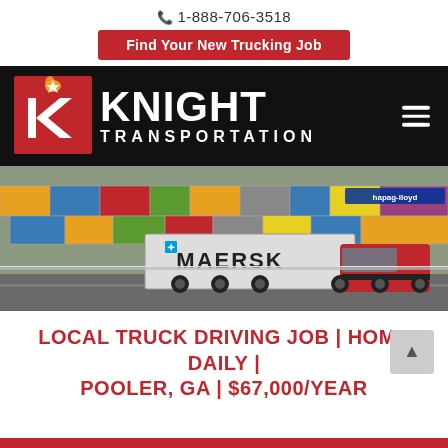1-888-706-3518
Find Your New Trucking Job
[Figure (logo): Knight Transportation logo on black navigation bar with large red K letter mark and white text KNIGHT TRANSPORTATION, plus hamburger menu icon]
[Figure (photo): A red semi-truck (Knight Transportation) hauling a white Maersk shipping container at a port/yard with stacks of colorful shipping containers in the background]
LOCAL TRUCK DRIVING JOB | HOME DAILY | POOLER, GA | $67,000/YEAR